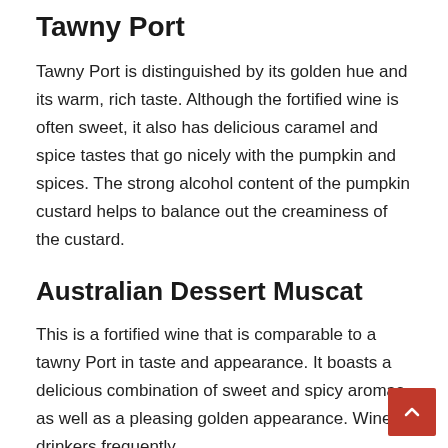Tawny Port
Tawny Port is distinguished by its golden hue and its warm, rich taste. Although the fortified wine is often sweet, it also has delicious caramel and spice tastes that go nicely with the pumpkin and spices. The strong alcohol content of the pumpkin custard helps to balance out the creaminess of the custard.
Australian Dessert Muscat
This is a fortified wine that is comparable to a tawny Port in taste and appearance. It boasts a delicious combination of sweet and spicy aromas, as well as a pleasing golden appearance. Wine drinkers frequently